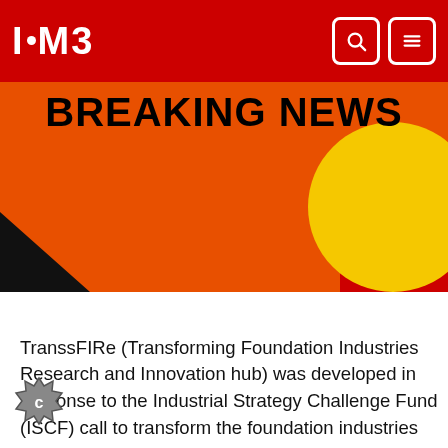I·M3
[Figure (illustration): Breaking News banner with orange and red background, yellow circle accent, and bold black text reading BREAKING NEWS]
TranssFIRe (Transforming Foundation Industries Research and Innovation hub) was developed in response to the Industrial Strategy Challenge Fund (ISCF) call to transform the foundation industries including chemicals, cement, ceramics, glass, metals and paper. These industries produce around 75% of all materials in